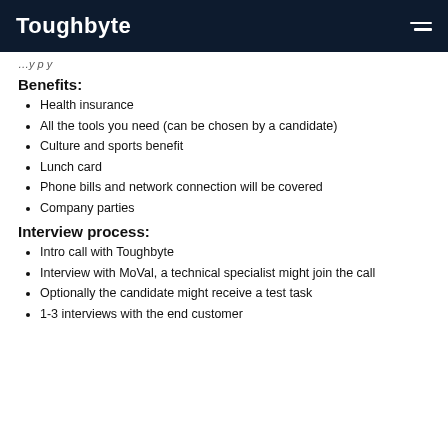Toughbyte
…y p y
Benefits:
Health insurance
All the tools you need (can be chosen by a candidate)
Culture and sports benefit
Lunch card
Phone bills and network connection will be covered
Company parties
Interview process:
Intro call with Toughbyte
Interview with MoVal, a technical specialist might join the call
Optionally the candidate might receive a test task
1-3 interviews with the end customer